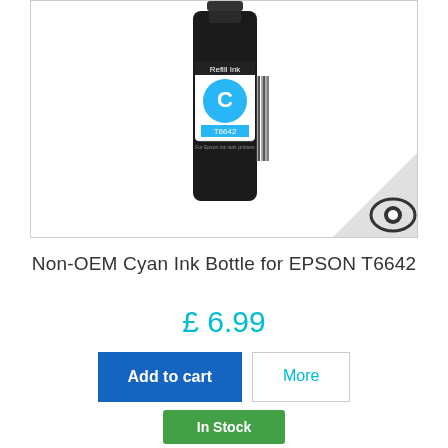[Figure (photo): Cyan ink bottle for EPSON T6642 with a blue label showing 'C' and 'T6642', dark bottle body, barcode on side. An eye icon watermark appears in the bottom-right corner of the image box.]
Non-OEM Cyan Ink Bottle for EPSON T6642
£ 6.99
Add to cart
More
In Stock
+ Add to Compare